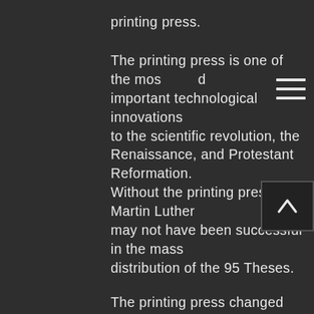printing press.
The printing press is one of the most important technological innovations led to the scientific revolution, the Renaissance, and Protestant Reformation. Without the printing press, Martin Luther may not have been successful in the mass distribution of the 95 Theses.
The printing press changed the ideas behind mass propaganda, the newspaper, and revolutions. It had a major impact on the ideas of freedom of speech and the press.
Without a doubt, the printing press affected the law, but the intersection of law and the printing press still was not